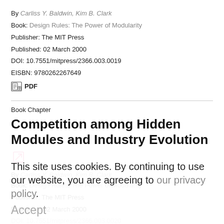By Carliss Y. Baldwin, Kim B. Clark
Book: Design Rules: The Power of Modularity
Publisher: The MIT Press
Published: 02 March 2000
DOI: 10.7551/mitpress/2366.003.0019
EISBN: 9780262267649
PDF
Book Chapter
Competition among Hidden Modules and Industry Evolution
By Carliss Y. Baldwin, Kim B. Clark
Book: Design Rules: The Power of Modularity
Publisher: The MIT Press
Published: 02 March 2000
DOI: 10.7551/mitpress/2366.003.0020
EISBN: 9780262267649
PDF
This site uses cookies. By continuing to use our website, you are agreeing to our privacy policy. Accept